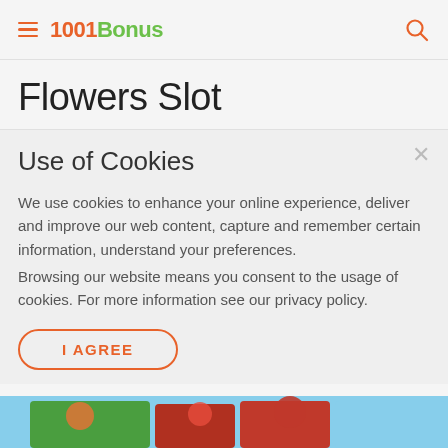1001Bonus — hamburger menu and search icon header
Flowers Slot
Use of Cookies
We use cookies to enhance your online experience, deliver and improve our web content, capture and remember certain information, understand your preferences.
Browsing our website means you consent to the usage of cookies. For more information see our privacy policy.
I AGREE
[Figure (illustration): Bottom strip showing colorful cartoon slot game graphics with flowers and characters]